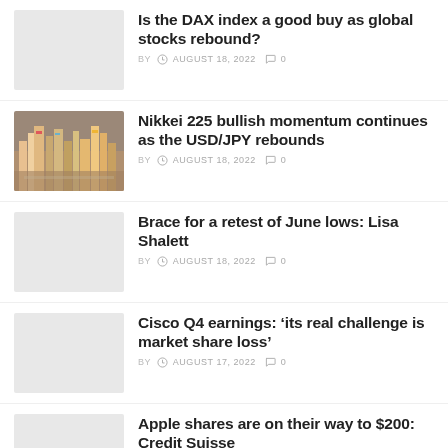Is the DAX index a good buy as global stocks rebound? BY AUGUST 18, 2022 0
Nikkei 225 bullish momentum continues as the USD/JPY rebounds BY AUGUST 18, 2022 0
Brace for a retest of June lows: Lisa Shalett BY AUGUST 18, 2022 0
Cisco Q4 earnings: ‘its real challenge is market share loss’ BY AUGUST 17, 2022 0
Apple shares are on their way to $200: Credit Suisse BY AUGUST 17, 2022 0
BUB breakout 50-MA support and...